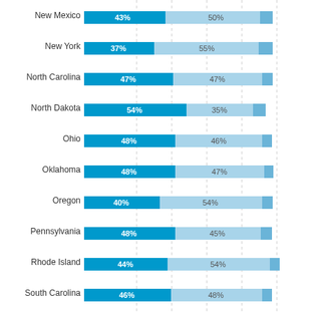[Figure (stacked-bar-chart): State polling results]